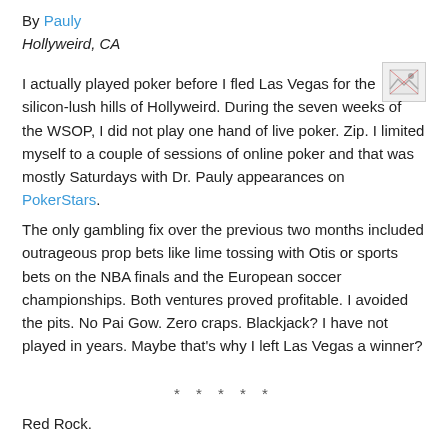By Pauly
Hollyweird, CA
I actually played poker before I fled Las Vegas for the silicon-lush hills of Hollyweird. During the seven weeks of the WSOP, I did not play one hand of live poker. Zip. I limited myself to a couple of sessions of online poker and that was mostly Saturdays with Dr. Pauly appearances on PokerStars.
[Figure (other): Broken image placeholder icon]
The only gambling fix over the previous two months included outrageous prop bets like lime tossing with Otis or sports bets on the NBA finals and the European soccer championships. Both ventures proved profitable. I avoided the pits. No Pai Gow. Zero craps. Blackjack? I have not played in years. Maybe that’s why I left Las Vegas a winner?
* * * * *
Red Rock.